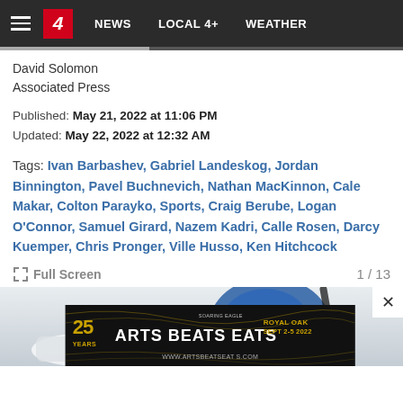NEWS | LOCAL 4+ | WEATHER
David Solomon
Associated Press
Published: May 21, 2022 at 11:06 PM
Updated: May 22, 2022 at 12:32 AM
Tags: Ivan Barbashev, Gabriel Landeskog, Jordan Binnington, Pavel Buchnevich, Nathan MacKinnon, Cale Makar, Colton Parayko, Sports, Craig Berube, Logan O'Connor, Samuel Girard, Nazem Kadri, Calle Rosen, Darcy Kuemper, Chris Pronger, Ville Husso, Ken Hitchcock
Full Screen  1 / 13
[Figure (photo): Hockey player with helmet and stick visible, light background]
[Figure (photo): Arts Beats Eats advertisement banner. 25 Years. Royal Oak. Sept 2-5 2022. www.artsbeateats.com. Soaring Eagle sponsor.]